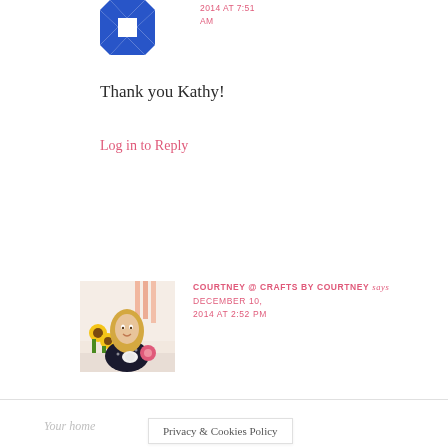[Figure (logo): Blue and white geometric quilt-pattern avatar icon]
2014 AT 7:51 AM
Thank you Kathy!
Log in to Reply
[Figure (photo): Woman with long blonde hair sitting at a table with sunflowers, wearing a dark polka dot top]
COURTNEY @ CRAFTS BY COURTNEY says DECEMBER 10, 2014 AT 2:52 PM
Your home   Privacy & Cookies Policy